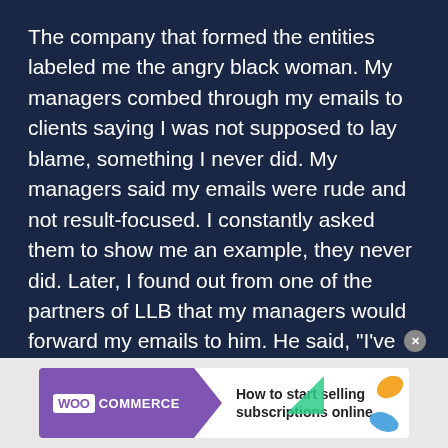The company that formed the entities labeled me the angry black woman. My managers combed through my emails to clients saying I was not supposed to lay blame, something I never did. My managers said my emails were rude and not result-focused. I constantly asked them to show me an example, they never did. Later, I found out from one of the partners of LLB that my managers would forward my emails to him. He said, "I've heard you have a bad attitude but now that I work with you I don't see it. They forward your emails to me but I can't find one that's a problem."
One day I was in my office, I answered the phone to a woman who was screaming. She was screaming so loud my coworkers in other offices could hear her and I was not using
[Figure (other): WooCommerce advertisement banner: 'How to start selling subscriptions online']